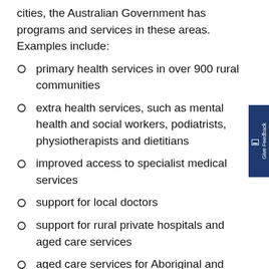cities, the Australian Government has programs and services in these areas. Examples include:
primary health services in over 900 rural communities
extra health services, such as mental health and social workers, podiatrists, physiotherapists and dietitians
improved access to specialist medical services
support for local doctors
support for rural private hospitals and aged care services
aged care services for Aboriginal and Torres Strait Islander people